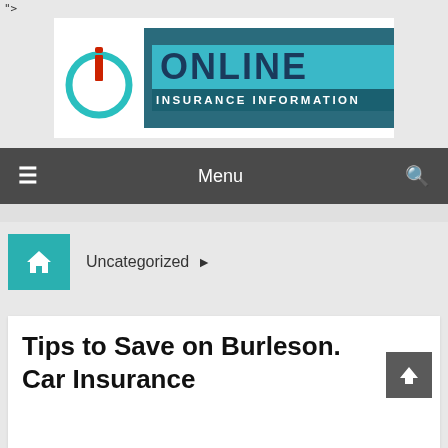">
[Figure (logo): Online Insurance Information logo with teal circular 'i' icon and teal/navy text block reading ONLINE INSURANCE INFORMATION]
[Figure (infographic): Dark gray navigation bar with hamburger menu icon on left, 'Menu' text in center, and search icon on right]
Uncategorized ▶
Tips to Save on Burleson. Car Insurance